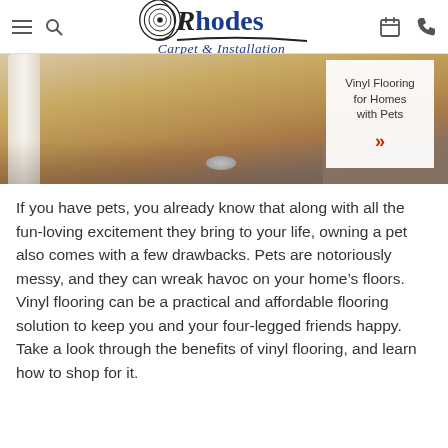Rhodes Carpet & Installation — navigation header
[Figure (photo): A golden retriever dog lying on vinyl/hardwood flooring next to a metal food bowl near white furniture. An overlay box on the right reads 'Vinyl Flooring for Homes with Pets' with a red chevron arrow.]
If you have pets, you already know that along with all the fun-loving excitement they bring to your life, owning a pet also comes with a few drawbacks. Pets are notoriously messy, and they can wreak havoc on your home’s floors. Vinyl flooring can be a practical and affordable flooring solution to keep you and your four-legged friends happy. Take a look through the benefits of vinyl flooring, and learn how to shop for it.